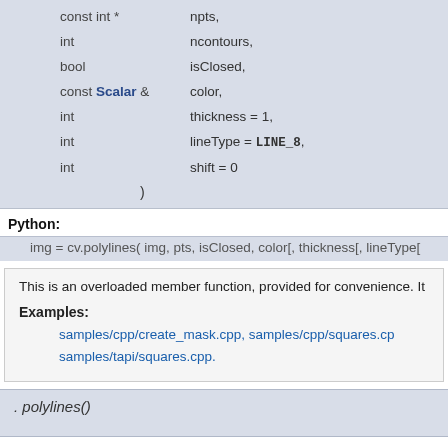| type | parameter |
| --- | --- |
| const int * | npts, |
| int | ncontours, |
| bool | isClosed, |
| const Scalar & | color, |
| int | thickness = 1, |
| int | lineType = LINE_8, |
| int | shift = 0 |
| ) |  |
Python:
img = cv.polylines( img, pts, isClosed, color[, thickness[, lineType[
This is an overloaded member function, provided for convenience. It
Examples:
samples/cpp/create_mask.cpp, samples/cpp/squares.cpp, samples/tapi/squares.cpp.
. polylines()